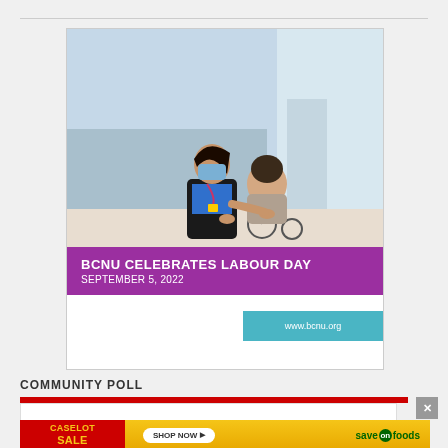[Figure (illustration): BC Nurses Union advertisement for Labour Day. Shows a masked nurse in a black vest interacting with a patient in a wheelchair near a window. Logo reads BC NURSES UNION - Standing up for health care. Purple banner reads BCNU CELEBRATES LABOUR DAY SEPTEMBER 5, 2022 with teal www.bcnu.org link.]
COMMUNITY POLL
[Figure (screenshot): A partial screenshot showing a red bar and a close button X, with a yellow and red Caselot Sale advertisement for Save On Foods at the bottom with SHOP NOW button.]